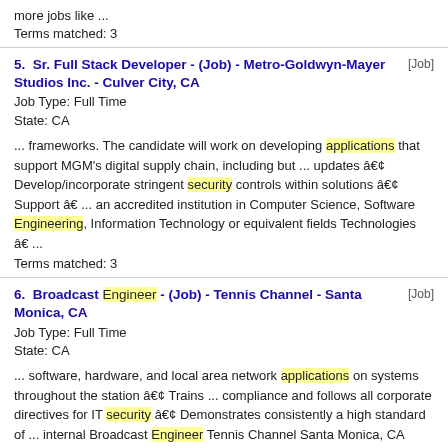more jobs like ...
Terms matched: 3
5. Sr. Full Stack Developer - (Job) - Metro-Goldwyn-Mayer Studios Inc. - Culver City, CA [Job]
Job Type: Full Time
State: CA
... frameworks. The candidate will work on developing applications that support MGM's digital supply chain, including but ... updates â€¢ Develop/incorporate stringent security controls within solutions â€¢ Support â€ ... an accredited institution in Computer Science, Software Engineering, Information Technology or equivalent fields Technologies â€ ...
Terms matched: 3
6. Broadcast Engineer - (Job) - Tennis Channel - Santa Monica, CA [Job]
Job Type: Full Time
State: CA
... software, hardware, and local area network applications on systems throughout the station â€¢ Trains ... compliance and follows all corporate directives for IT security â€¢ Demonstrates consistently a high standard of ... internal Broadcast Engineer Tennis Channel Santa Monica, CA Posted: August 8, 2022 more jobs ...
Terms matched: 3
7. Cloud Post Production Engineer - (Job) - Paramount - Los Angeles, CA [Job]
Job Type: Full Time
State: CA